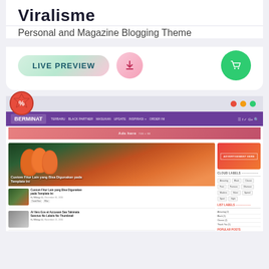Viralisme
Personal and Magazine Blogging Theme
[Figure (screenshot): Three UI buttons: 'LIVE PREVIEW' pill button with mint-to-pink gradient, a download icon circle button with pink gradient, and a shopping cart circle button with green background]
[Figure (screenshot): Browser mockup showing a website called BERMINAT with purple navigation bar, ads banner, featured tulip image post, small post listings, sidebar with advertisement box, cloud labels, and list labels sections]